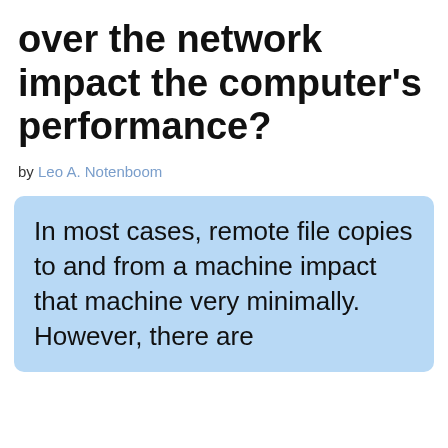over the network impact the computer's performance?
by Leo A. Notenboom
In most cases, remote file copies to and from a machine impact that machine very minimally. However, there are